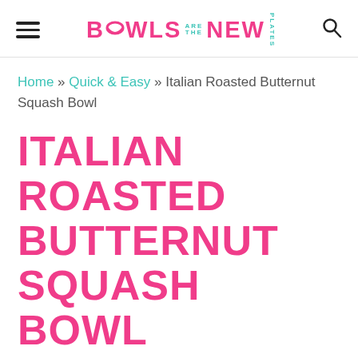BOWLS ARE THE NEW PLATES (logo)
Home » Quick & Easy » Italian Roasted Butternut Squash Bowl
ITALIAN ROASTED BUTTERNUT SQUASH BOWL
Whitney Bond Posted Apr 16, 2020 This post may contain affiliate links.